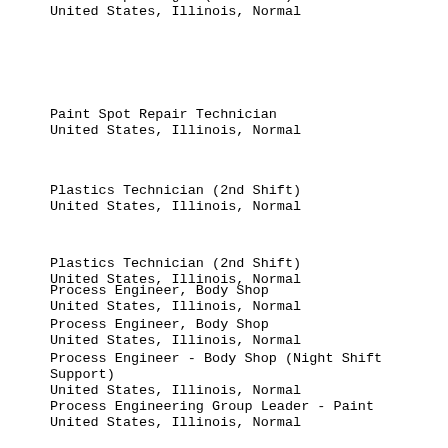Paint Shop Manager (2nd Shift)
United States, Illinois, Normal
Paint Spot Repair Technician
United States, Illinois, Normal
Plastics Technician (2nd Shift)
United States, Illinois, Normal
Plastics Technician (2nd Shift)
United States, Illinois, Normal
Process Engineer, Body Shop
United States, Illinois, Normal
Process Engineer, Body Shop
United States, Illinois, Normal
Process Engineer - Body Shop (Night Shift Support)
United States, Illinois, Normal
Process Engineering Group Leader - Paint
United States, Illinois, Normal